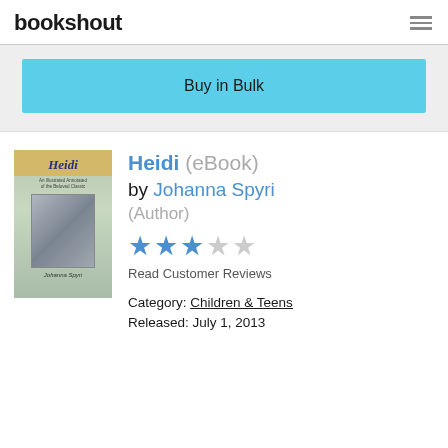bookshout
Buy in Bulk
[Figure (illustration): Book cover for Heidi by Johanna Spyri, showing the title in stylized text on a golden band, with a black and white photo of a girl below, on a greenish background]
Heidi (eBook)
by Johanna Spyri (Author)
[Figure (infographic): 3 out of 5 stars rating shown as blue filled stars and grey empty stars]
Read Customer Reviews
Category: Children & Teens
Released: July 1, 2013